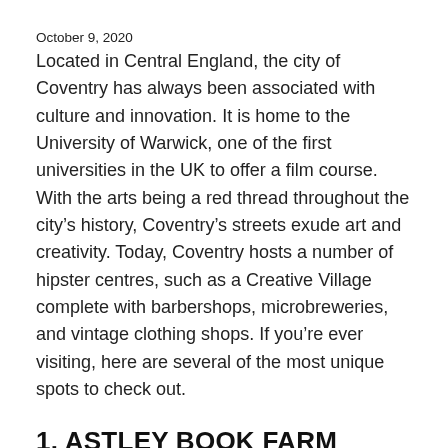October 9, 2020
Located in Central England, the city of Coventry has always been associated with culture and innovation. It is home to the University of Warwick, one of the first universities in the UK to offer a film course. With the arts being a red thread throughout the city’s history, Coventry’s streets exude art and creativity. Today, Coventry hosts a number of hipster centres, such as a Creative Village complete with barbershops, microbreweries, and vintage clothing shops. If you’re ever visiting, here are several of the most unique spots to check out.
1. ASTLEY BOOK FARM
If you’re here, here are some elite spaces, there’s to the